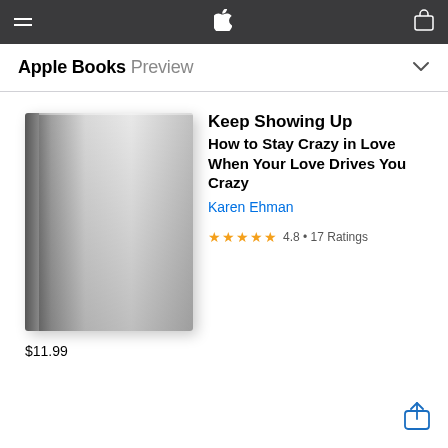Apple Books Preview
[Figure (illustration): Gray blank book cover with subtle gradient, 3D perspective with visible spine on left side]
Keep Showing Up
How to Stay Crazy in Love When Your Love Drives You Crazy
Karen Ehman
4.8 • 17 Ratings
$11.99